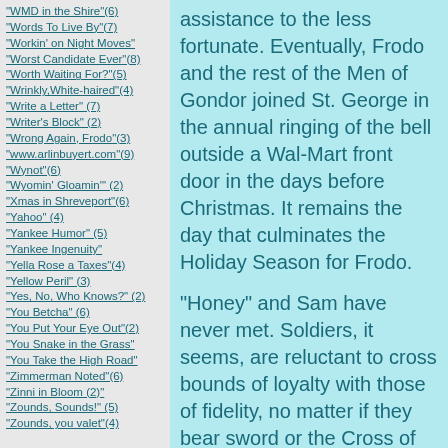"WMD in the Shire"(6)
"Words To Live By"(7)
"Workin' on Night Moves"
"Worst Candidate Ever"(8)
"Worth Waiting For?"(5)
"Wrinkly,White-haired"(4)
"Write a Letter" (7)
"Writer's Block" (2)
"Wrong Again, Frodo"(3)
"www.arlinbuyert.com"(9)
"Wynot"(6)
"Wyomin' Gloamin'" (2)
"Xmas in Shreveport"(6)
"Yahoo" (4)
"Yankee Humor" (5)
"Yankee Ingenuity"
"Yella Rose a Taxes"(4)
"Yellow Peril" (3)
"Yes, No, Who Knows?" (2)
"You Betcha" (6)
"You Put Your Eye Out"(2)
"You Snake in the Grass"
"You Take the High Road"
"Zimmerman Noted"(6)
"Zinni in Bloom (2)"
"Zounds, Sounds!" (5)
"Zounds, you valet"(4)
assistance to the less fortunate.  Eventually, Frodo and the rest of the Men of Gondor joined St. George in the annual ringing of the bell outside a Wal-Mart front door in the days before Christmas.  It remains the day that culminates the Holiday Season for Frodo.
"Honey" and Sam have never met.  Soldiers, it seems, are reluctant to cross bounds of loyalty with those of fidelity, no matter if they bear sword or the Cross of Jesus.  St. George is a quiet man, but with an engaging and winning smile.  There is no doubt that he acts sincerely, and